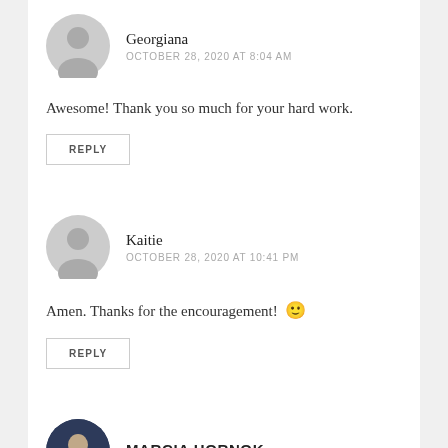Georgiana
OCTOBER 28, 2020 AT 8:04 AM
Awesome! Thank you so much for your hard work.
REPLY
Kaitie
OCTOBER 28, 2020 AT 10:41 PM
Amen. Thanks for the encouragement! 🙂
REPLY
MARCIA HORNOK